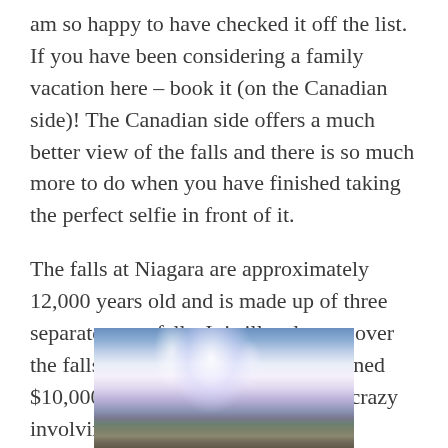am so happy to have checked it off the list. If you have been considering a family vacation here – book it (on the Canadian side)! The Canadian side offers a much better view of the falls and there is so much more to do when you have finished taking the perfect selfie in front of it.
The falls at Niagara are approximately 12,000 years old and is made up of three separate waterfalls. It is illegal to go over the falls – and those who do so are fined $10,000 (please don't try something crazy involving a barrel!).
[Figure (photo): Photograph of Niagara Falls showing the waterfall with mist and spray, rocky foreground visible at bottom right, bright light and mist dominating the upper portion of the image.]